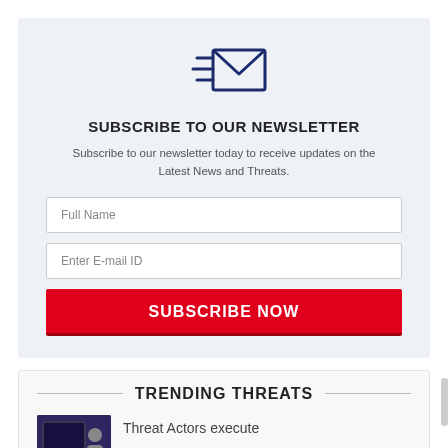[Figure (illustration): Email/newsletter icon: an envelope with motion lines on the left side, drawn in dark navy blue outline style]
SUBSCRIBE TO OUR NEWSLETTER
Subscribe to our newsletter today to receive updates on the Latest News and Threats.
Full Name
Enter E-mail ID
SUBSCRIBE NOW
TRENDING THREATS
Threat Actors execute